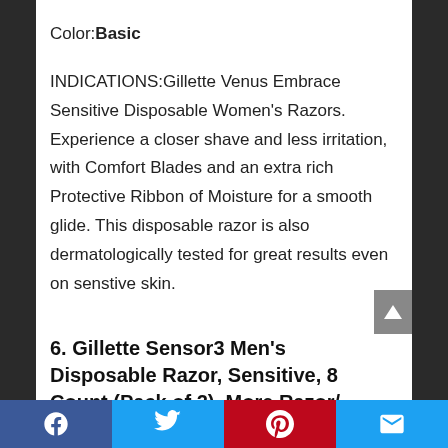Color: Basic
INDICATIONS:Gillette Venus Embrace Sensitive Disposable Women's Razors. Experience a closer shave and less irritation, with Comfort Blades and an extra rich Protective Ribbon of Moisture for a smooth glide. This disposable razor is also dermatologically tested for great results even on senstive skin.
6. Gillette Sensor3 Men's Disposable Razor, Sensitive, 8 Count (Pack of 2), More Razor/
Facebook Twitter Pinterest Email